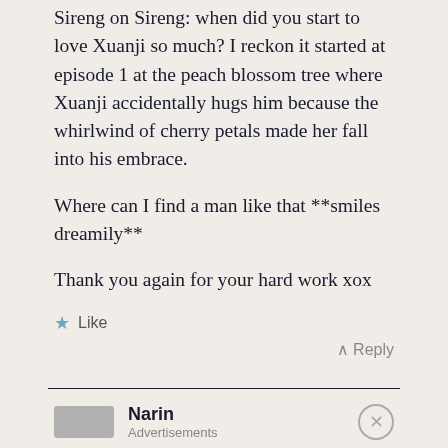Sireng on Sireng: when did you start to love Xuanji so much? I reckon it started at episode 1 at the peach blossom tree where Xuanji accidentally hugs him because the whirlwind of cherry petals made her fall into his embrace.
Where can I find a man like that **smiles dreamily**
Thank you again for your hard work xox
★ Like
^ Reply
Narin
Advertisements